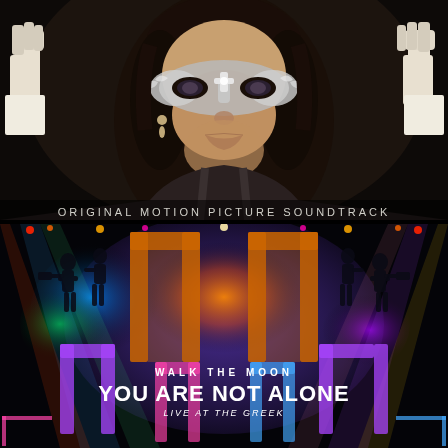[Figure (photo): Movie promotional image: close-up of a woman wearing an ornate silver masquerade mask, hands raised near her face, dark moody background — appears to be from 'Fifty Shades Darker' original motion picture soundtrack cover]
ORIGINAL MOTION PICTURE SOUNDTRACK
[Figure (photo): Walk The Moon 'You Are Not Alone - Live at the Greek' album cover: colorful psychedelic concert light show with neon colors (blue, green, yellow, red, purple, pink), silhouettes of band members performing on stage, mirrored/reflected design on black background]
WALK THE MOON
YOU ARE NOT ALONE
LIVE AT THE GREEK